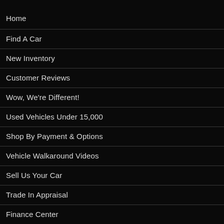Home
Find A Car
New Inventory
Customer Reviews
Wow, We're Different!
Used Vehicles Under 15,000
Shop By Payment & Options
Vehicle Walkaround Videos
Sell Us Your Car
Trade In Appraisal
Finance Center